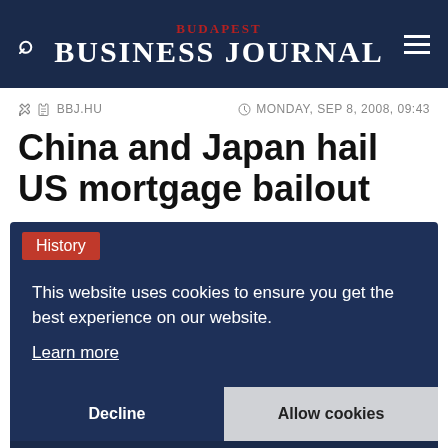BUDAPEST BUSINESS JOURNAL
BBJ.HU   MONDAY, SEP 8, 2008, 09:43
China and Japan hail US mortgage bailout
History
This website uses cookies to ensure you get the best experience on our website. Learn more
Decline   Allow cookies